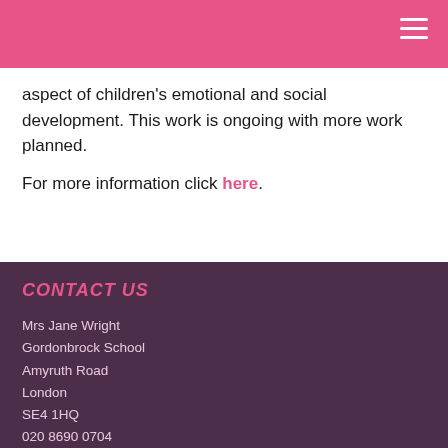aspect of children's emotional and social development. This work is ongoing with more work planned.
For more information click here.
CONTACT US
Mrs Jane Wright
Gordonbrock School
Amyruth Road
London
SE4 1HQ
020 8690 0704
info@gordonbrock.lewisham.sch.uk